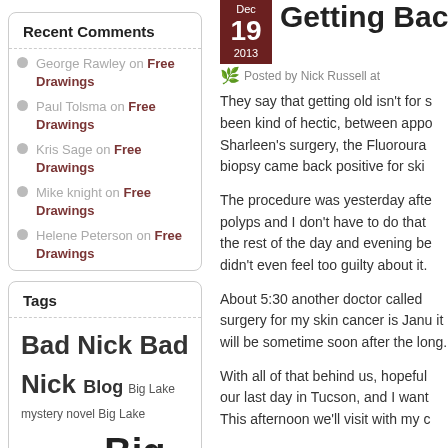Recent Comments
George Rawley on Free Drawings
Paul Tolsma on Free Drawings
Kris Sage on Free Drawings
Mike knight on Free Drawings
Helene Peterson on Free Drawings
Tags
Bad Nick Bad Nick Blog Big Lake mystery novel Big Lake mystery novels Big Lake mystery series Bus Conversion campground Civil War dry camping e-book publishing
Getting Back O
Posted by Nick Russell at
They say that getting old isn't for s been kind of hectic, between appo Sharleen's surgery, the Fluoroura biopsy came back positive for ski
The procedure was yesterday afte polyps and I don't have to do that the rest of the day and evening be didn't even feel too guilty about it.
About 5:30 another doctor called surgery for my skin cancer is Janu it will be sometime soon after the long.
With all of that behind us, hopeful our last day in Tucson, and I want This afternoon we'll visit with my c